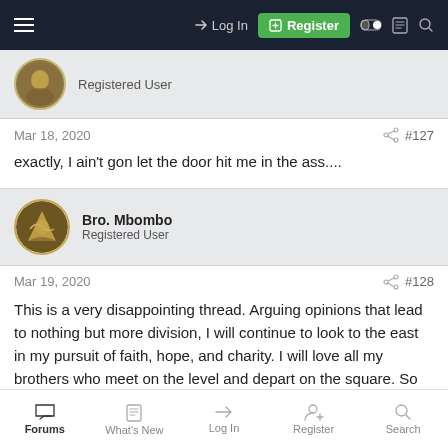Log In | Register
Registered User
Mar 18, 2020  #127
exactly, I ain't gon let the door hit me in the ass....
Bro. Mbombo
Registered User
Mar 19, 2020  #128
This is a very disappointing thread. Arguing opinions that lead to nothing but more division, I will continue to look to the east in my pursuit of faith, hope, and charity. I will love all my brothers who meet on the level and depart on the square. So Mote It Be.
Forums | What's New | Log In | Register | Search